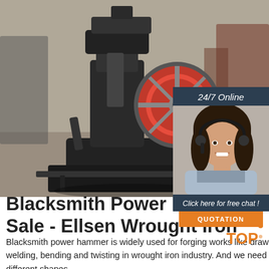[Figure (photo): Blacksmith power hammer machine in an industrial workshop, featuring a large red flywheel, dark metal body on a heavy base, with factory floor background.]
[Figure (photo): Customer service representative with headset smiling, used as 24/7 online chat widget sidebar with dark blue header showing '24/7 Online' and orange QUOTATION button.]
Blacksmith Power Hammer For Sale - Ellsen Wrought Iron
Blacksmith power hammer is widely used for forging works like drawing-out, upsetting, punching, chiseling, forging, welding, bending and twisting in wrought iron industry. And we need heat these raw materials before processing them into different shapes.